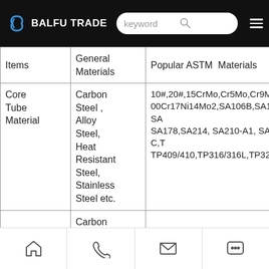BALFU TRADE — keyword search bar and menu
| Items | General Materials | Popular ASTM Materials |
| --- | --- | --- |
| Core Tube Material | Carbon Steel , Alloy Steel, Heat Resistant Steel, Stainless Steel etc. | 10#,20#,15CrMo,Cr5Mo,Cr9Mo,1Cr18 00Cr17Ni14Mo2,SA106B,SA106C, SA SA178,SA214, SA210-A1, SA210-C,T TP409/410,TP316/316L,TP321/321L, |
|  | Carbon |  |
Home | Phone | Email | Chat